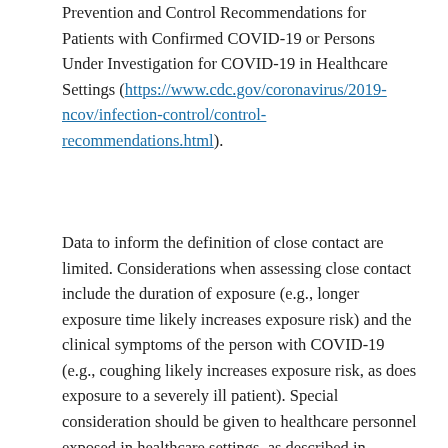Prevention and Control Recommendations for Patients with Confirmed COVID-19 or Persons Under Investigation for COVID-19 in Healthcare Settings (https://www.cdc.gov/coronavirus/2019-ncov/infection-control/control-recommendations.html).
Data to inform the definition of close contact are limited. Considerations when assessing close contact include the duration of exposure (e.g., longer exposure time likely increases exposure risk) and the clinical symptoms of the person with COVID-19 (e.g., coughing likely increases exposure risk, as does exposure to a severely ill patient). Special consideration should be given to healthcare personnel exposed in healthcare settings, as described in